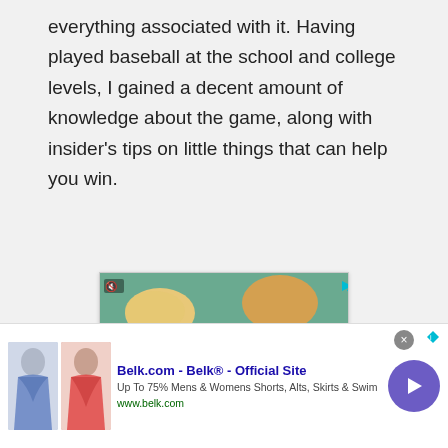everything associated with it. Having played baseball at the school and college levels, I gained a decent amount of knowledge about the game, along with insider's tips on little things that can help you win.
[Figure (screenshot): Advertisement for Pollo Campero showing fried chicken with dipping sauce, brand logo, and location information for Herndon 10AM-10PM with navigation button]
[Figure (screenshot): Bottom banner advertisement for Belk.com - Belk Official Site showing clothing items (skirts), text 'Up To 75% Mens & Womens Shorts, Alts, Skirts & Swim' and URL www.belk.com with a purple arrow button]